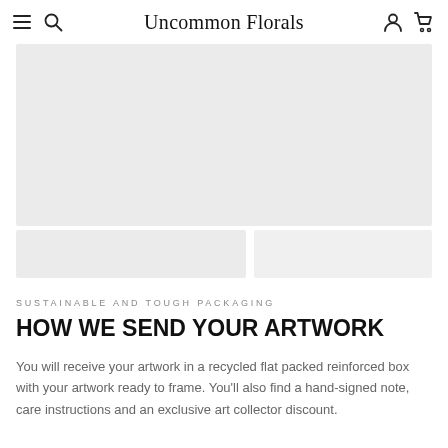Uncommon Florals
[Figure (photo): Placeholder image area showing a flat gray rectangle at top and two smaller gray rectangles below, representing product/artwork packaging photos.]
SUSTAINABLE AND TOUGH PACKAGING
HOW WE SEND YOUR ARTWORK
You will receive your artwork in a recycled flat packed reinforced box with your artwork ready to frame. You'll also find a hand-signed note, care instructions and an exclusive art collector discount.